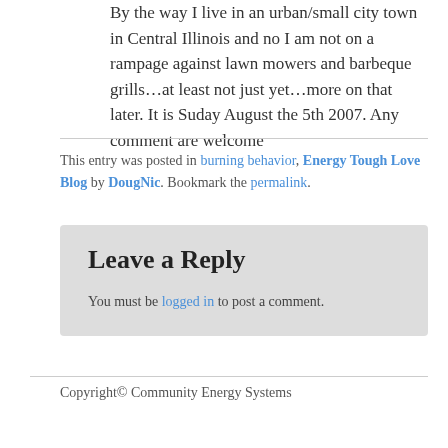By the way I live in an urban/small city town in Central Illinois and no I am not on a rampage against lawn mowers and barbeque grills…at least not just yet…more on that later. It is Suday August the 5th 2007. Any comment are welcome
This entry was posted in burning behavior, Energy Tough Love Blog by DougNic. Bookmark the permalink.
Leave a Reply
You must be logged in to post a comment.
Copyright© Community Energy Systems